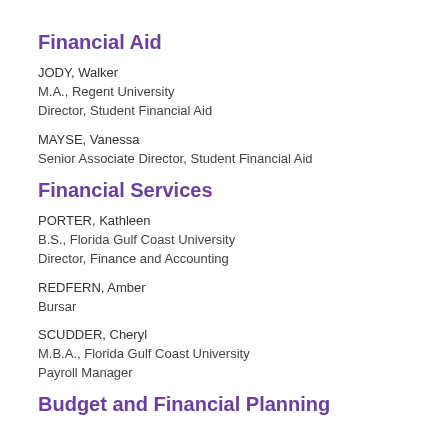Financial Aid
JODY, Walker
M.A., Regent University
Director, Student Financial Aid
MAYSE, Vanessa
Senior Associate Director, Student Financial Aid
Financial Services
PORTER, Kathleen
B.S., Florida Gulf Coast University
Director, Finance and Accounting
REDFERN, Amber
Bursar
SCUDDER, Cheryl
M.B.A., Florida Gulf Coast University
Payroll Manager
Budget and Financial Planning